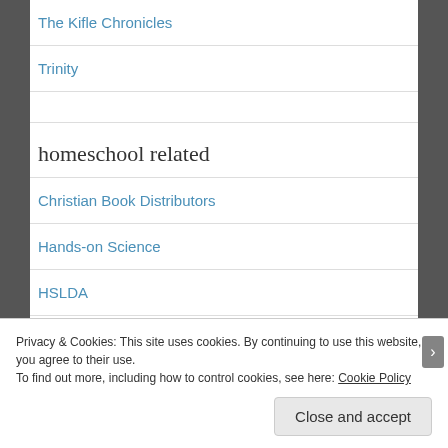The Kifle Chronicles
Trinity
homeschool related
Christian Book Distributors
Hands-on Science
HSLDA
Privacy & Cookies: This site uses cookies. By continuing to use this website, you agree to their use. To find out more, including how to control cookies, see here: Cookie Policy
Close and accept